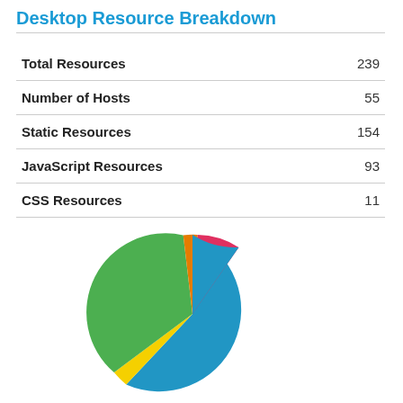Desktop Resource Breakdown
| Resource | Count |
| --- | --- |
| Total Resources | 239 |
| Number of Hosts | 55 |
| Static Resources | 154 |
| JavaScript Resources | 93 |
| CSS Resources | 11 |
[Figure (pie-chart): Desktop Resource Breakdown]